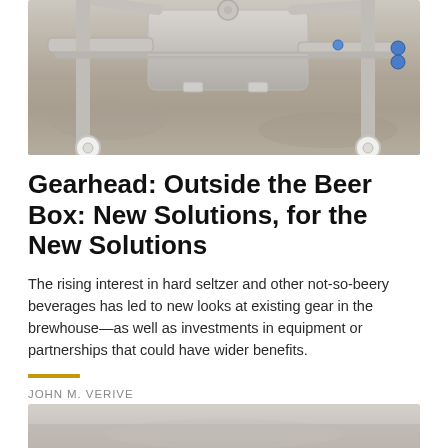[Figure (photo): Overhead/close-up view of stainless steel brewery equipment on a concrete floor, showing pipes, valves, blue-capped fittings, and white caster wheels.]
Gearhead: Outside the Beer Box: New Solutions, for the New Solutions
The rising interest in hard seltzer and other not-so-beery beverages has led to new looks at existing gear in the brewhouse—as well as investments in equipment or partnerships that could have wider benefits.
JOHN M. VERIVE
[Figure (photo): Partial view of another brewery-related photograph visible at the bottom edge of the page.]